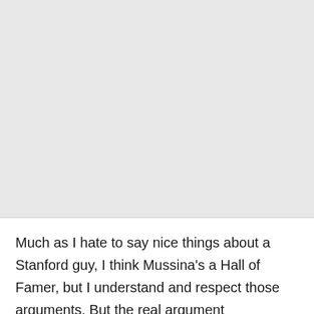[Figure (other): Gray rectangular image placeholder area occupying the top portion of the page]
Much as I hate to say nice things about a Stanford guy, I think Mussina's a Hall of Famer, but I understand and respect those arguments. But the real argument